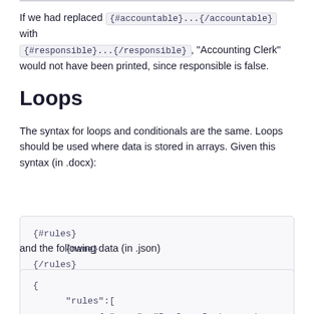If we had replaced {#accountable}...{/accountable} with {#responsible}...{/responsible}, "Accounting Clerk" would not have been printed, since responsible is false.
Loops
The syntax for loops and conditionals are the same. Loops should be used where data is stored in arrays. Given this syntax (in .docx):
{#rules}
      {name}
{/rules}
and the following data (in .json)
{
      "rules":[
            { "name": "Perform Background Checks" },
            { "name": "Sign Contract on First Day" },
            { "name": "...